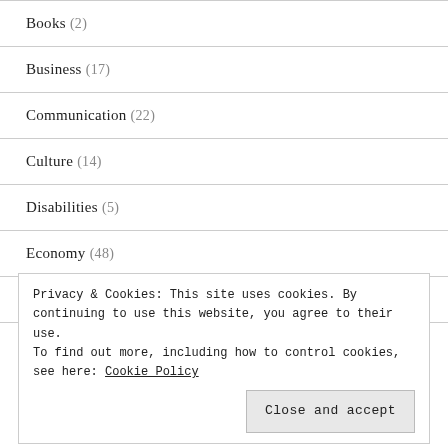Books (2)
Business (17)
Communication (22)
Culture (14)
Disabilities (5)
Economy (48)
Education (36)
Privacy & Cookies: This site uses cookies. By continuing to use this website, you agree to their use.
To find out more, including how to control cookies, see here: Cookie Policy
Close and accept